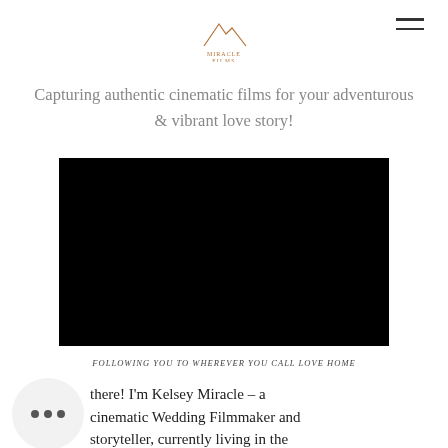[Figure (logo): Miracle Films logo - mountain outline with brand name text]
Capturing authentic cinematic films for your adventurous & vibrant love story!
[Figure (screenshot): Black video player embed]
Following you to wherever you call love home
there! I'm Kelsey Miracle - a cinematic Wedding Filmmaker and storyteller, currently living in the